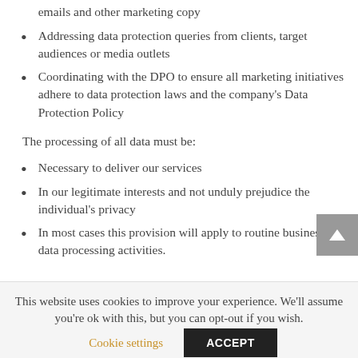emails and other marketing copy
Addressing data protection queries from clients, target audiences or media outlets
Coordinating with the DPO to ensure all marketing initiatives adhere to data protection laws and the company's Data Protection Policy
The processing of all data must be:
Necessary to deliver our services
In our legitimate interests and not unduly prejudice the individual's privacy
In most cases this provision will apply to routine business data processing activities.
This website uses cookies to improve your experience. We'll assume you're ok with this, but you can opt-out if you wish.
Cookie settings   ACCEPT